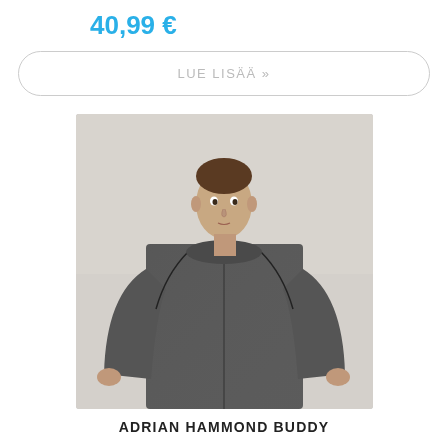40,99 €
LUE LISÄÄ »
[Figure (photo): Male model wearing a dark grey textured knit sweater with zipper details on raglan seams, standing against a light background]
ADRIAN HAMMOND BUDDY